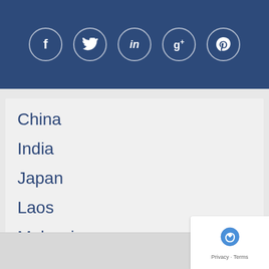[Figure (screenshot): Social media icon bar with Facebook, Twitter, LinkedIn, Google+, and Pinterest circular icon buttons on a dark blue background]
China
India
Japan
Laos
Malaysia
Nepal
Philippines
South Korea
Sri Lanka
Thailand
Vietnam
[Figure (logo): reCAPTCHA badge with logo and Privacy - Terms text]